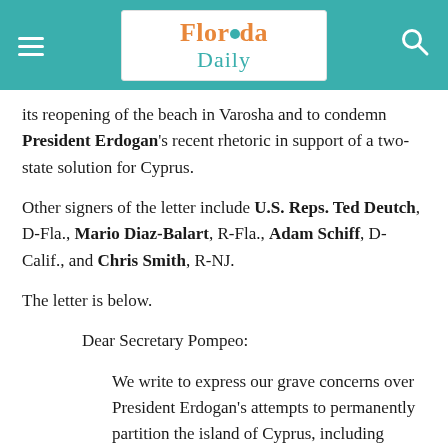Florida Daily
its reopening of the beach in Varosha and to condemn President Erdogan's recent rhetoric in support of a two-state solution for Cyprus.
Other signers of the letter include U.S. Reps. Ted Deutch, D-Fla., Mario Diaz-Balart, R-Fla., Adam Schiff, D-Calif., and Chris Smith, R-NJ.
The letter is below.
Dear Secretary Pompeo:
We write to express our grave concerns over President Erdogan's attempts to permanently partition the island of Cyprus, including Turkey's illegal reopening of the